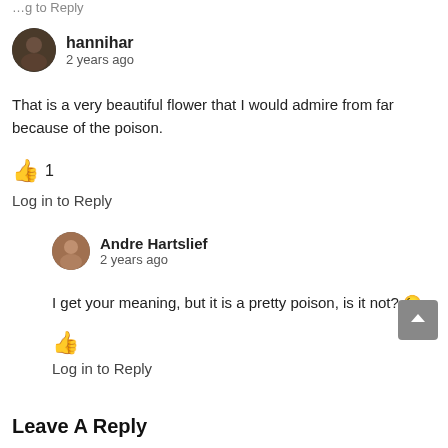[Figure (photo): Circular avatar photo of user hannihar]
hannihar
2 years ago
That is a very beautiful flower that I would admire from far because of the poison.
👍 1
Log in to Reply
[Figure (photo): Circular avatar photo of user Andre Hartslief]
Andre Hartslief
2 years ago
I get your meaning, but it is a pretty poison, is it not? 😉
👍
Log in to Reply
Leave A Reply